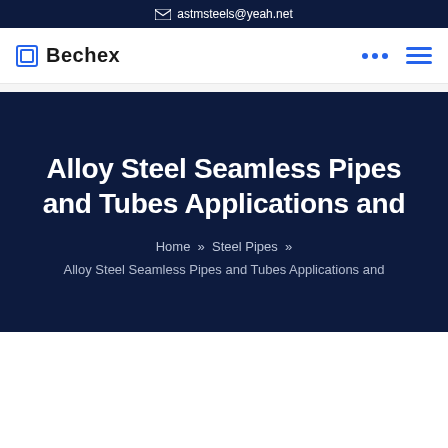astmsteels@yeah.net
Bechex
Alloy Steel Seamless Pipes and Tubes Applications and
Home » Steel Pipes » Alloy Steel Seamless Pipes and Tubes Applications and